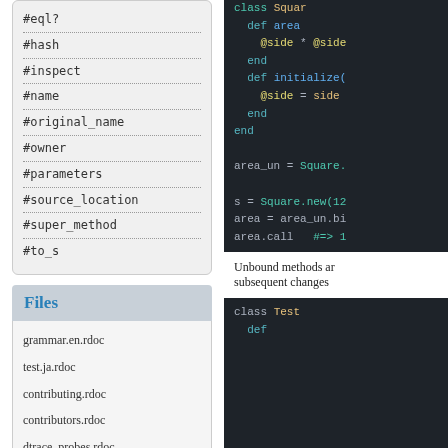#eql?
#hash
#inspect
#name
#original_name
#owner
#parameters
#source_location
#super_method
#to_s
Files
grammar.en.rdoc
test.ja.rdoc
contributing.rdoc
contributors.rdoc
dtrace_probes.rdoc
globals.rdoc
[Figure (screenshot): Ruby code snippet showing class Square with def area (@side * @side), end, def initialize, @side = side, end, end; then area_un = Square.; s = Square.new(12; area = area_un.bi; area.call  #=> 1]
Unbound methods are subsequent changes
[Figure (screenshot): Ruby code snippet: class Test]